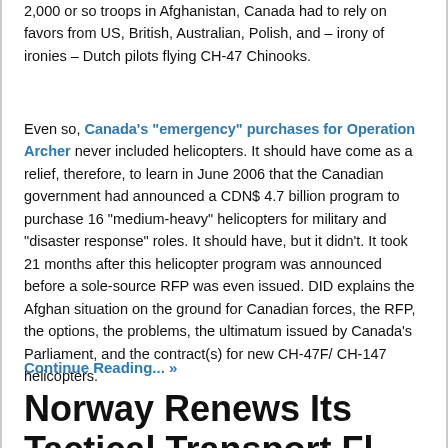2,000 or so troops in Afghanistan, Canada had to rely on favors from US, British, Australian, Polish, and – irony of ironies – Dutch pilots flying CH-47 Chinooks.
Even so, Canada's "emergency" purchases for Operation Archer never included helicopters. It should have come as a relief, therefore, to learn in June 2006 that the Canadian government had announced a CDN$ 4.7 billion program to purchase 16 "medium-heavy" helicopters for military and "disaster response" roles. It should have, but it didn't. It took 21 months after this helicopter program was announced before a sole-source RFP was even issued. DID explains the Afghan situation on the ground for Canadian forces, the RFP, the options, the problems, the ultimatum issued by Canada's Parliament, and the contract(s) for new CH-47F/ CH-147 helicopters.
Continue Reading... »
Norway Renews Its Tactical Transport Fl...